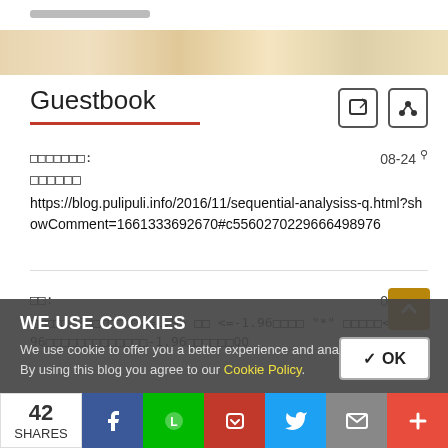Guestbook
□□□□□□□: 08-24 □□□□□□ https://blog.pulipuli.info/2016/11/sequential-analysiss-q.html?showComment=1661333692670#c5560270229666498976
□□: 08-12 □□□□□□Z□□□□□□□>=1.96 □□ <=-1.96□□□□ "*" □□□□□<=-1.96□□□□□□□□□□□□□-1.96□□□□□□QQ
WE USE COOKIES
We use cookie to offer you a better experience and analyze site traffic. By using this blog you agree to our Cookie Policy.